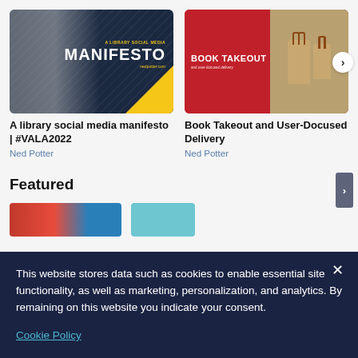[Figure (photo): Library social media manifesto book cover with dark navy background, yellow triangle corner, and MANIFESTO text]
A library social media manifesto | #VALA2022
Ned Potter
[Figure (photo): Book Takeout and User-Docused Delivery cover with red background and brown paper bags]
Book Takeout and User-Docused Delivery
Ned Potter
Featured
This website stores data such as cookies to enable essential site functionality, as well as marketing, personalization, and analytics. By remaining on this website you indicate your consent.
Cookie Policy